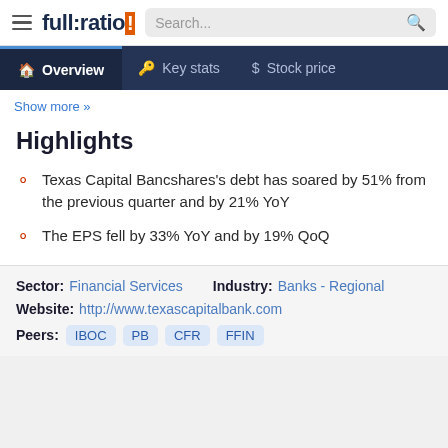full:ratio | Search...
Overview | Key stats | Stock price
Show more »
Highlights
Texas Capital Bancshares's debt has soared by 51% from the previous quarter and by 21% YoY
The EPS fell by 33% YoY and by 19% QoQ
Sector: Financial Services   Industry: Banks - Regional
Website: http://www.texascapitalbank.com
Peers: IBOC PB CFR FFIN